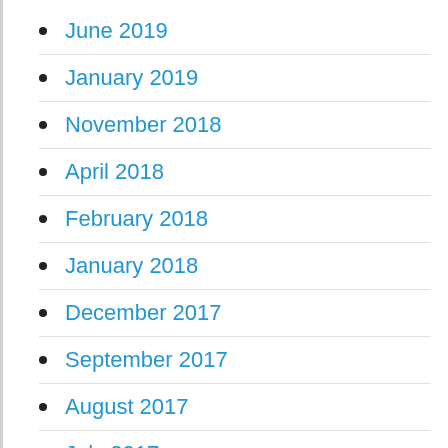June 2019
January 2019
November 2018
April 2018
February 2018
January 2018
December 2017
September 2017
August 2017
July 2017
June 2017